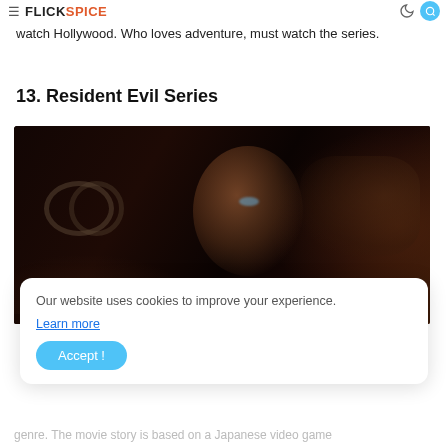FLICKSPICE
watch Hollywood. Who loves adventure, must watch the series.
13. Resident Evil Series
[Figure (photo): Dark cinematic still from Resident Evil showing a woman with short dark hair and blue eyes holding a weapon, looking intensely at the camera, with mechanical/industrial background elements visible]
Our website uses cookies to improve your experience. Learn more
genre. The movie story is based on a Japanese video game